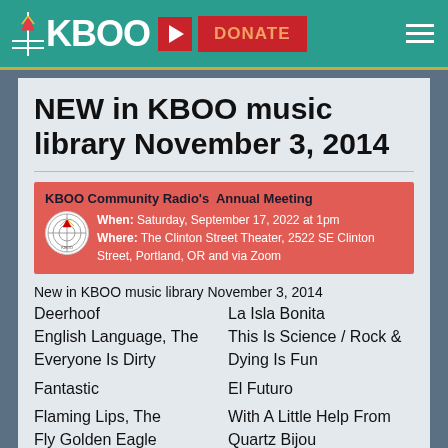KBOO | DONATE
NEW in KBOO music library November 3, 2014
KBOO Community Radio's Annual Meeting
When: Saturday, September 17, 2022 at 1pm
Where: The Clinton Street Theater, 2522 SE Clinton Street, Portland, OR and via Zoom
New in KBOO music library November 3, 2014
Deerhoof — La Isla Bonita
English Language, The — This Is Science / Rock &
Everyone Is Dirty — Dying Is Fun
Fantastic — El Futuro
Flaming Lips, The — With A Little Help From
Fly Golden Eagle — Quartz Bijou
Jean, Olivia — Bathtub Love Killings